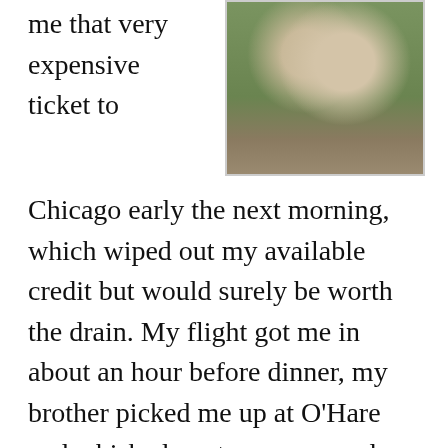me that very expensive ticket to
[Figure (photo): Old photograph of children posing outdoors on a path, with greenery/bushes in the background, warm vintage tones.]
Chicago early the next morning, which wiped out my available credit but would surely be worth the drain. My flight got me in about an hour before dinner, my brother picked me up at O'Hare and whisked me to a warm and inviting home that was jam-packed with more people than I'd shared a table with since I...well, left home! Cheers at my arrival were heartening and as my Mom and various siblings got platters out to the table and I waited in anticipation for the entrance of the bubbling brown turkey, my Mom leaned over and kissed me just to wish me good. "You...